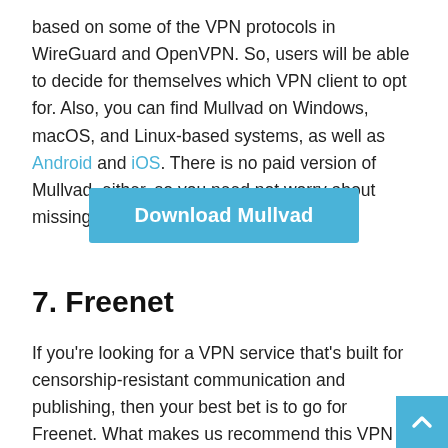based on some of the VPN protocols in WireGuard and OpenVPN. So, users will be able to decide for themselves which VPN client to opt for. Also, you can find Mullvad on Windows, macOS, and Linux-based systems, as well as Android and iOS. There is no paid version of Mullvad, either, so you need not worry about missing out on any of its features.
[Figure (other): Blue button labeled 'Download Mullvad']
7. Freenet
If you're looking for a VPN service that's built for censorship-resistant communication and publishing, then your best bet is to go for Freenet. What makes us recommend this VPN to our readers is the fact that it allows users to browse the Internet, share files with other people, and chat on forums without leaving any trace or feeling restricted. Apart from that, you can